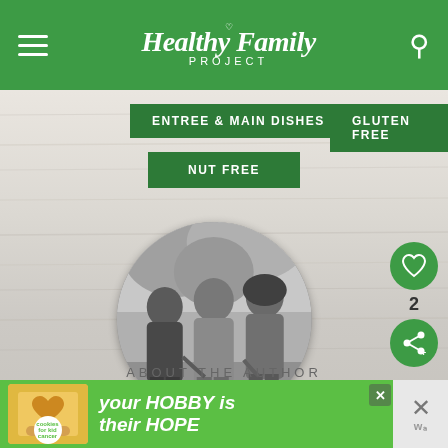Healthy Family PROJECT
ENTREE & MAIN DISHES
GLUTEN FREE
NUT FREE
[Figure (photo): Circular black and white photo of three women/girls walking together outdoors]
WHAT'S NEXT → Sesame Chicken...
ABOUT THE AUTHOR
[Figure (infographic): Advertisement banner: cookies for kid cancer logo, 'your HOBBY is their HOPE' text in green banner]